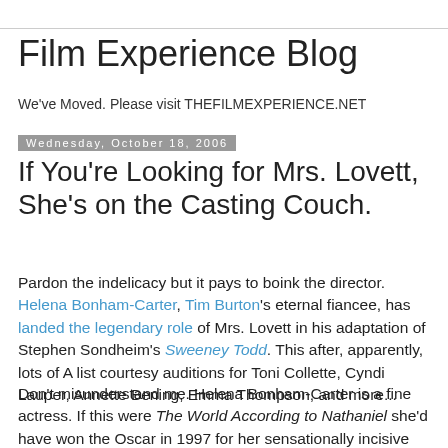Film Experience Blog
We've Moved. Please visit THEFILMEXPERIENCE.NET
Wednesday, October 18, 2006
If You're Looking for Mrs. Lovett, She's on the Casting Couch.
Pardon the indelicacy but it pays to boink the director. Helena Bonham-Carter, Tim Burton's eternal fiancee, has landed the legendary role of Mrs. Lovett in his adaptation of Stephen Sondheim's Sweeney Todd. This after, apparently, lots of A list courtesy auditions for Toni Collette, Cyndi Lauper, Annette Bening, Emma Thompson, and more...
Don't misunderstand me. Helena Bonham-Carter is a fine actress. If this were The World According to Nathaniel she'd have won the Oscar in 1997 for her sensationally incisive turn in Wings of the Dove.